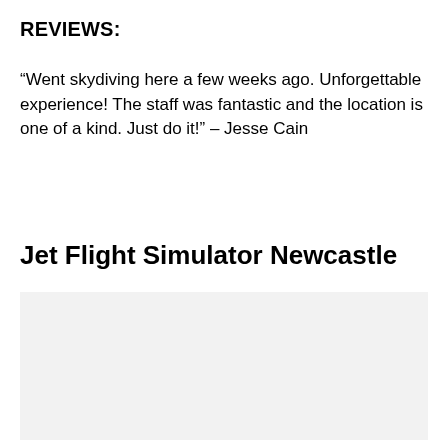REVIEWS:
“Went skydiving here a few weeks ago. Unforgettable experience! The staff was fantastic and the location is one of a kind. Just do it!” – Jesse Cain
Jet Flight Simulator Newcastle
[Figure (photo): Light grey/blank image placeholder for Jet Flight Simulator Newcastle]